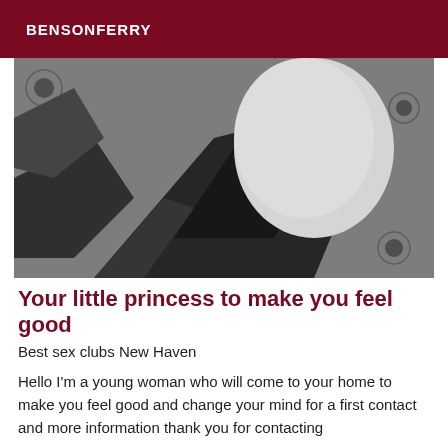BENSONFERRY
[Figure (photo): Black and white photograph showing a person wearing high heels lying on a floral patterned surface]
Your little princess to make you feel good
Best sex clubs New Haven
Hello I'm a young woman who will come to your home to make you feel good and change your mind for a first contact and more information thank you for contacting